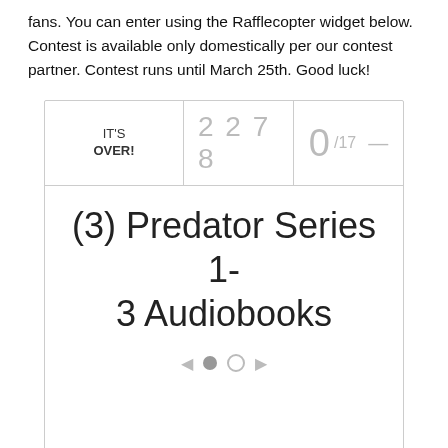fans. You can enter using the Rafflecopter widget below. Contest is available only domestically per our contest partner. Contest runs until March 25th. Good luck!
[Figure (screenshot): Rafflecopter contest widget showing 'IT'S OVER!' status, 2278 entries, 0/17 counter, prize title '(3) Predator Series 1-3 Audiobooks', navigation dots, and message 'This contest is no longer accepting entries.']